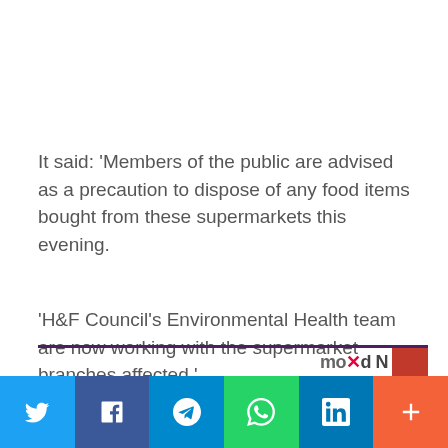It said: 'Members of the public are advised as a precaution to dispose of any food items bought from these supermarkets this evening.
'H&F Council's Environmental Health team are now working with the supermarket branches affected.'
Social sharing bar: Twitter, Facebook, Telegram, WhatsApp, LinkedIn, More